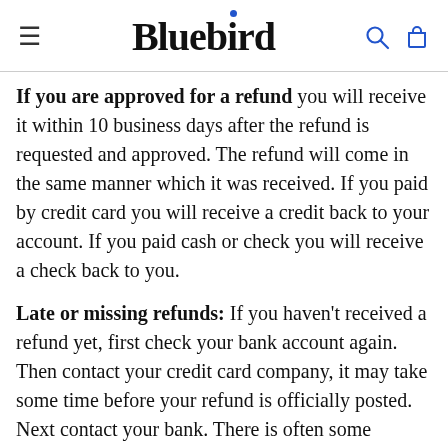Bluebird
If you are approved for a refund you will receive it within 10 business days after the refund is requested and approved. The refund will come in the same manner which it was received. If you paid by credit card you will receive a credit back to your account. If you paid cash or check you will receive a check back to you.
Late or missing refunds: If you haven't received a refund yet, first check your bank account again. Then contact your credit card company, it may take some time before your refund is officially posted. Next contact your bank. There is often some processing time before a refund is posted. If you've done all of this and you still have not received your refund yet, please contact us: Hello@bluebirdby.co